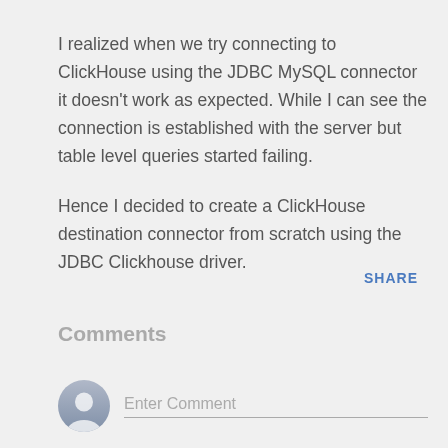I realized when we try connecting to ClickHouse using the JDBC MySQL connector it doesn't work as expected. While I can see the connection is established with the server but table level queries started failing.
Hence I decided to create a ClickHouse destination connector from scratch using the JDBC Clickhouse driver.
SHARE
Comments
Enter Comment